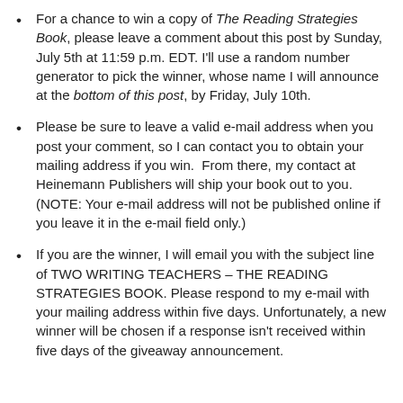For a chance to win a copy of The Reading Strategies Book, please leave a comment about this post by Sunday, July 5th at 11:59 p.m. EDT. I'll use a random number generator to pick the winner, whose name I will announce at the bottom of this post, by Friday, July 10th.
Please be sure to leave a valid e-mail address when you post your comment, so I can contact you to obtain your mailing address if you win.  From there, my contact at Heinemann Publishers will ship your book out to you.  (NOTE: Your e-mail address will not be published online if you leave it in the e-mail field only.)
If you are the winner, I will email you with the subject line of TWO WRITING TEACHERS – THE READING STRATEGIES BOOK. Please respond to my e-mail with your mailing address within five days. Unfortunately, a new winner will be chosen if a response isn't received within five days of the giveaway announcement.